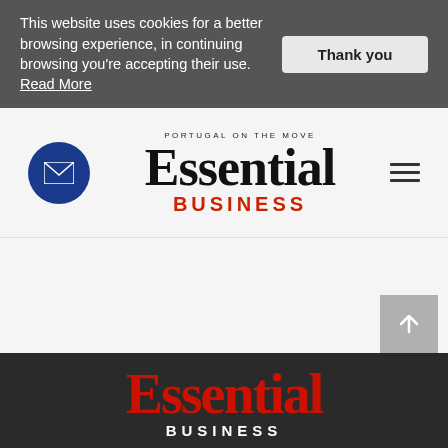This website uses cookies for a better browsing experience, in continuing browsing you're accepting their use. Read More
Thank you
[Figure (logo): Essential Business logo with envelope icon and hamburger menu]
[Figure (screenshot): Essential Business magazine cover strip at the bottom of the page]